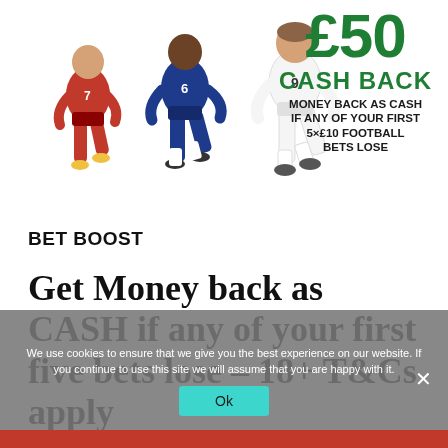[Figure (illustration): Three football players running - one in red kit (left), one in dark blue kit (center), one in white kit (right) against white background]
£50 CASH BACK MONEY BACK AS CASH IF ANY OF YOUR FIRST 5X£10 FOOTBALL BETS LOSE
BET BOOST
Get Money back as CASH if any of your first five bets lose – 18+ T&Cs apply
We use cookies to ensure that we give you the best experience on our website. If you continue to use this site we will assume that you are happy with it.